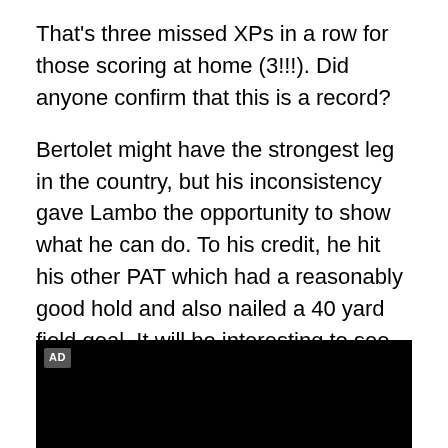That's three missed XPs in a row for those scoring at home (3!!!). Did anyone confirm that this is a record?
Bertolet might have the strongest leg in the country, but his inconsistency gave Lambo the opportunity to show what he can do. To his credit, he hit his other PAT which had a reasonably good hold and also nailed a 40 yard field goal. It will be interesting to see who gets the start at kicker next weekend, but on behalf of everyone... it's about time someone else gets a look.
Regardless of the overall performance, thanks for the #cashinout moment after the successful onside kick.
[Figure (other): Black advertisement video player box with AD label in top left corner]